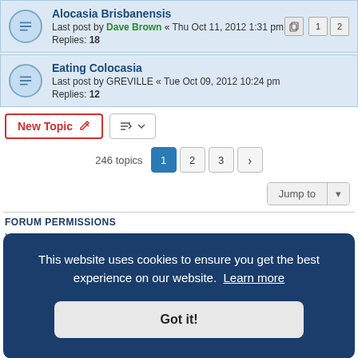Alocasia Brisbanensis — Last post by Dave Brown « Thu Oct 11, 2012 1:31 pm — Replies: 18
Eating Colocasia — Last post by GREVILLE « Tue Oct 09, 2012 10:24 pm — Replies: 12
246 topics  1 2 3 >
Jump to
FORUM PERMISSIONS
You cannot post new topics in this forum
This website uses cookies to ensure you get the best experience on our website. Learn more
Got it!
es are UTC